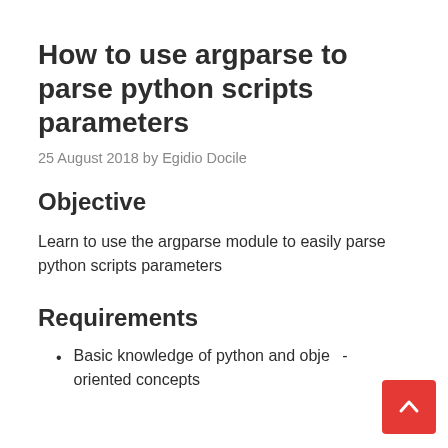How to use argparse to parse python scripts parameters
25 August 2018 by Egidio Docile
Objective
Learn to use the argparse module to easily parse python scripts parameters
Requirements
Basic knowledge of python and object-oriented concepts